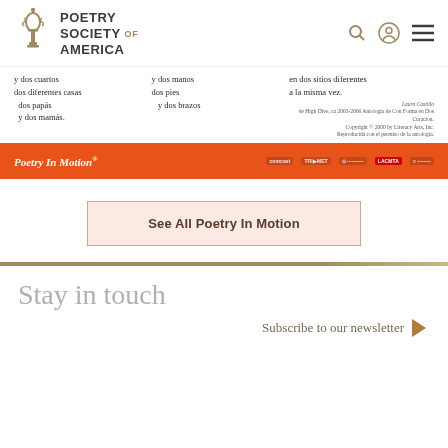[Figure (logo): Poetry Society of America logo with torch/candle icon and text]
y dos cuartos
dos diferentes casas
dos papás
y dos mamás.
y dos manos
dos pies
  y dos brazos
en dos sitios diferentes
a la misma vez.
Lauro Castillo
de High Dive, ca 2003-2006 Antología de Con Forma en Dos Curacion.
Copyright © 2000 by Literacy Arts, Inc.
Reproducida con el permiso de la antología.
Poetry In Motion®
See All Poetry In Motion
Stay in touch
Subscribe to our newsletter